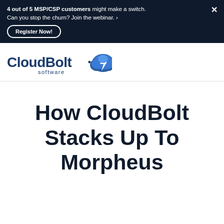4 out of 5 MSP/CSP customers might make a switch. Can you stop the churn? Join the webinar. › Register Now!
[Figure (logo): CloudBolt software logo with cloud and lightning bolt icon in blue]
How CloudBolt Stacks Up To Morpheus